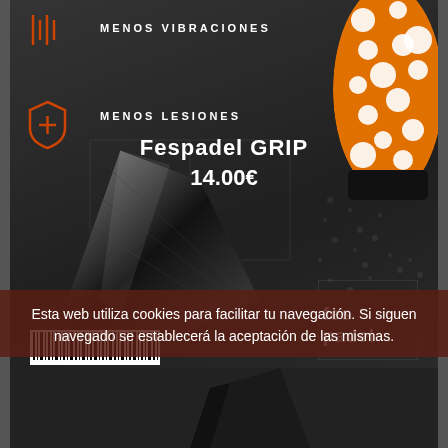[Figure (photo): Product page screenshot of Fespadel GRIP showing padel product on dark stadium background with orange grip and black paddle, price 14.00€, with icons for MENOS VIBRACIONES and MENOS LESIONES, Fespadel logo, and barcode]
Fespadel GRIP
14.00€
Esta web utiliza cookies para facilitar tu navegación. Si siguen navegado se establecerá la aceptación de las mismas.
Aceptar